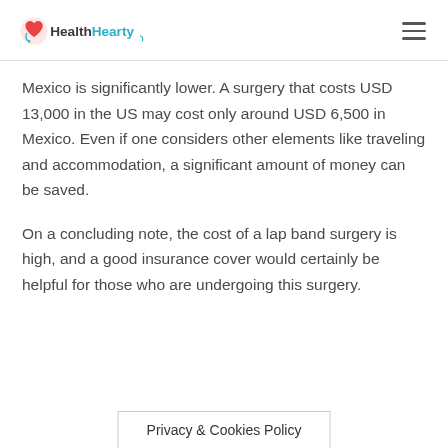HealthHearty
Mexico is significantly lower. A surgery that costs USD 13,000 in the US may cost only around USD 6,500 in Mexico. Even if one considers other elements like traveling and accommodation, a significant amount of money can be saved.
On a concluding note, the cost of a lap band surgery is high, and a good insurance cover would certainly be helpful for those who are undergoing this surgery.
Privacy & Cookies Policy